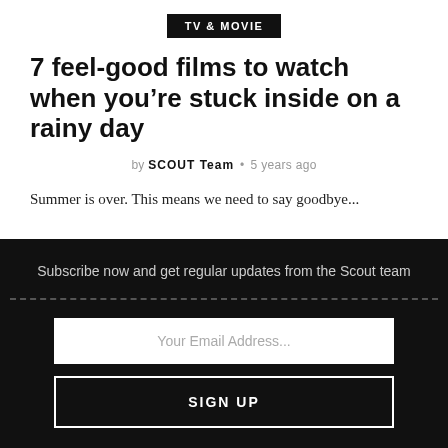TV & MOVIE
7 feel-good films to watch when you're stuck inside on a rainy day
by SCOUT Team • 5 years ago
Summer is over. This means we need to say goodbye...
Subscribe now and get regular updates from the Scout team
Your Email Address...
SIGN UP